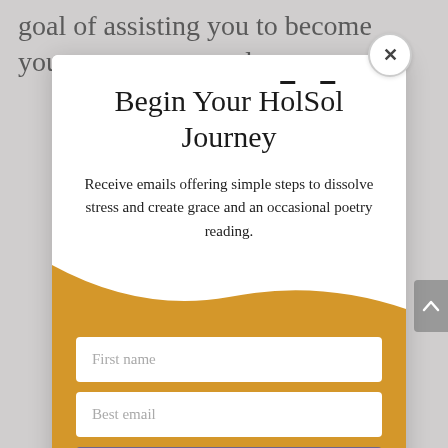goal of assisting you to become your own greatest advocate on the
Begin Your HōlSōl Journey
Receive emails offering simple steps to dissolve stress and create grace and an occasional poetry reading.
First name
Best email
Add me to your list.
Your email is safe with me.